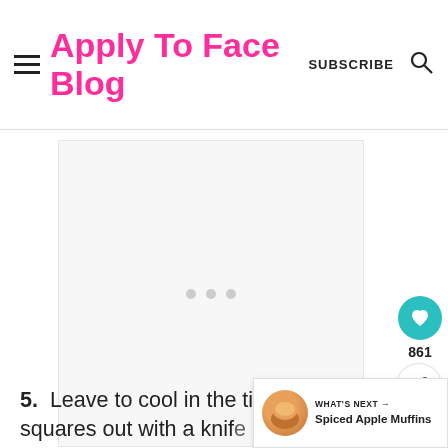Apply To Face Blog — SUBSCRIBE
[Figure (other): Advertisement placeholder with three gray dots centered in a light gray box]
5. Leave to cool in the tin but loosen the squares out with a knife before it does so. As they cool
[Figure (other): WHAT'S NEXT panel with muffin image and 'Spiced Apple Muffins' text]